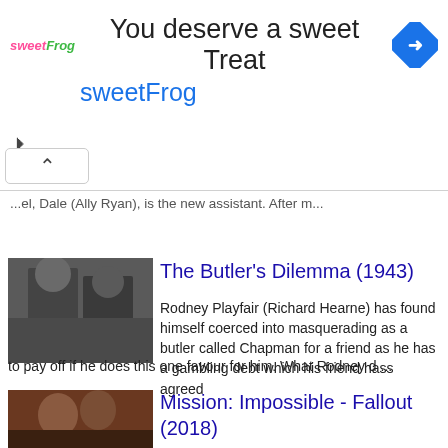[Figure (screenshot): SweetFrog advertisement banner with logo, text 'You deserve a sweet Treat' and 'sweetFrog', Google Maps navigation icon, close and chevron controls]
...el, Dale (Ally Ryan), is the new assistant. After m...
[Figure (photo): Black and white still from The Butler's Dilemma (1943) showing two men in formal attire]
The Butler's Dilemma (1943)
Rodney Playfair (Richard Hearne) has found himself coerced into masquerading as a butler called Chapman for a friend as he has a gambling debt which his friend hass agreed to pay off if he does this one favour for him. What Rodney d ...
[Figure (photo): Color still from Mission: Impossible - Fallout (2018) showing men at a crowded event]
Mission: Impossible - Fallout (2018)
Despite having captured Solomon Lane (Sean Harris - The Goob), the Syndicate still lives on, now under the guise of an organization calling themselves the Apostles and still causing problems for Ethan Hunt (Tom Cruise - Edge of Tomo ...
[Figure (photo): Black and white still from My Brother's Keeper (1948)]
My Brother's Keeper (1948)
George Martin (Jack Warner - Against the Wind) had been a war hero but on returning to civvy street turned to a life of crime, which i...